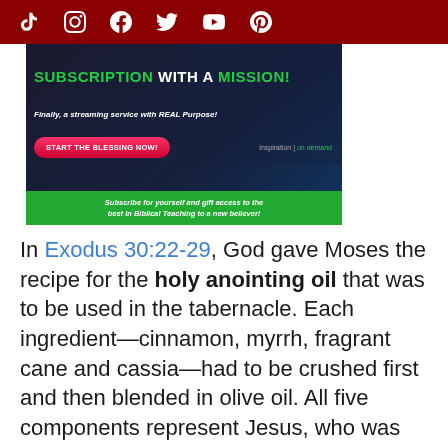[Social media icons: TikTok, Instagram, Facebook, Twitter, YouTube, Pinterest]
[Figure (infographic): Advertisement banner for a Christian streaming service. Dark background with people. Text reads: 'SUBSCRIPTION WITH A MISSION! Finally, a streaming service with REAL Purpose! START THE BLESSING NOW! inspiration | on demand. Subscribe for yourself and gift access to the best in Biblical Teaching to a new believer!']
In Exodus 30:22-29, God gave Moses the recipe for the holy anointing oil that was to be used in the tabernacle. Each ingredient—cinnamon, myrrh, fragrant cane and cassia—had to be crushed first and then blended in olive oil. All five components represent Jesus, who was crushed for us. Moses was warned that the oil was never to be misused, nor were any ingredients to be left out or substituted